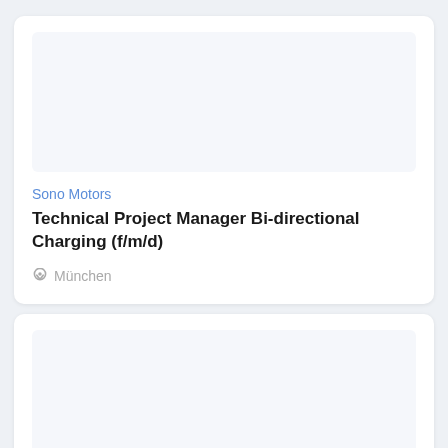Sono Motors
Technical Project Manager Bi-directional Charging (f/m/d)
München
Forwardize
Sales Development Representative - Eastern Europe (w/m/d)